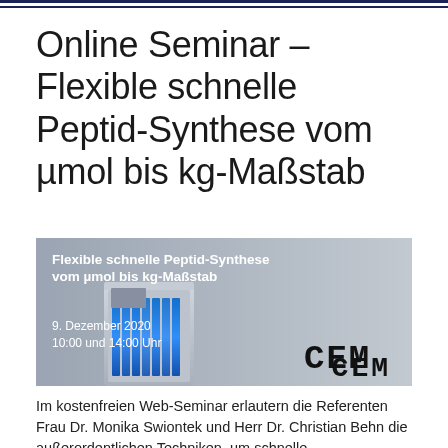Online Seminar – Flexible schnelle Peptid-Synthese vom µmol bis kg-Maßstab
[Figure (photo): Promotional banner image for the online seminar showing a CEM peptide synthesizer device with blue lighting on a grey background. Text overlay reads: 'Flexible schnelle Peptid-Synthese vom µmol bis kg-Maßstab', '9. Dezember 2020', '10:00 und 14:00 Uhr', and the CEM logo.]
Im kostenfreien Web-Seminar erlautern die Referenten Frau Dr. Monika Swiontek und Herr Dr. Christian Behn die außerordentlichen Techniken, um schnelle...